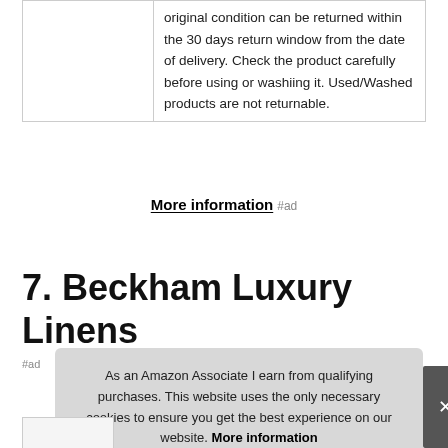|  | original condition can be returned within the 30 days return window from the date of delivery. Check the product carefully before using or washiing it. Used/Washed products are not returnable. |
More information #ad
7. Beckham Luxury Linens
#ad
As an Amazon Associate I earn from qualifying purchases. This website uses the only necessary cookies to ensure you get the best experience on our website. More information